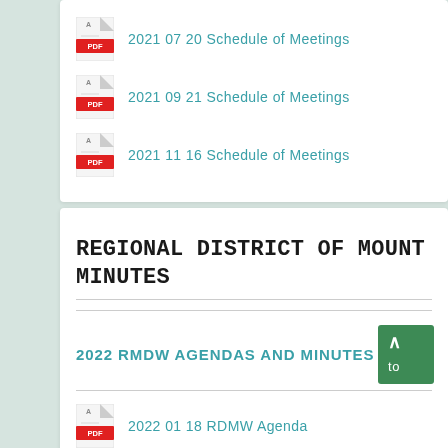2021 07 20 Schedule of Meetings
2021 09 21 Schedule of Meetings
2021 11 16 Schedule of Meetings
REGIONAL DISTRICT OF MOUNT MINUTES
2022 RMDW AGENDAS AND MINUTES
2022 01 18 RDMW Agenda
2022 02 15 RDMW Agenda